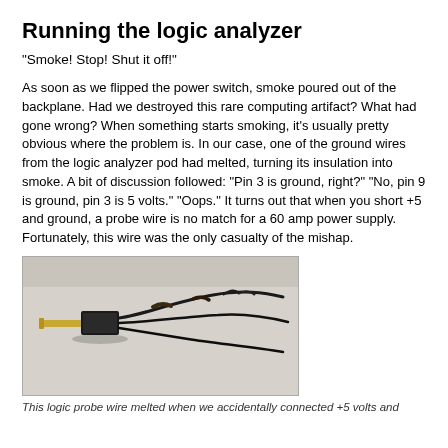Running the logic analyzer
"Smoke! Stop! Shut it off!"
As soon as we flipped the power switch, smoke poured out of the backplane. Had we destroyed this rare computing artifact? What had gone wrong? When something starts smoking, it's usually pretty obvious where the problem is. In our case, one of the ground wires from the logic analyzer pod had melted, turning its insulation into smoke. A bit of discussion followed: "Pin 3 is ground, right?" "No, pin 9 is ground, pin 3 is 5 volts." "Oops." It turns out that when you short +5 and ground, a probe wire is no match for a 60 amp power supply. Fortunately, this wire was the only casualty of the mishap.
[Figure (photo): A burned logic probe wire/connector showing melted insulation, with a gold pin on one end and charred wires on the other end, against a light gray background.]
This logic probe wire melted when we accidentally connected +5 volts and ground to it.